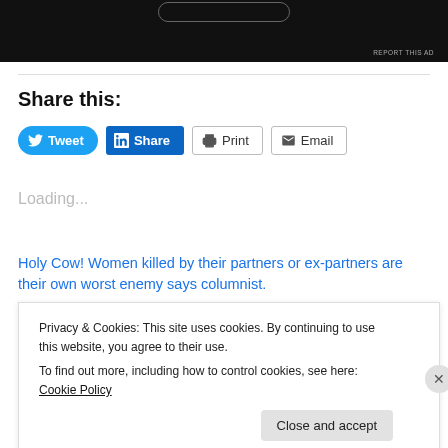[Figure (other): Dark/black advertisement block at the top of the page with a rounded-rectangle button outline visible at the top center, and 'REPORT THIS AD' text at bottom right]
Share this:
[Figure (other): Row of social sharing buttons: Tweet (blue, Twitter bird icon), Share (LinkedIn blue, in logo), Print (printer icon, outlined), Email (envelope icon, outlined)]
Loading...
Holy Cow! Women killed by their partners or ex-partners are their own worst enemy says columnist.
Privacy & Cookies: This site uses cookies. By continuing to use this website, you agree to their use.
To find out more, including how to control cookies, see here: Cookie Policy
Close and accept